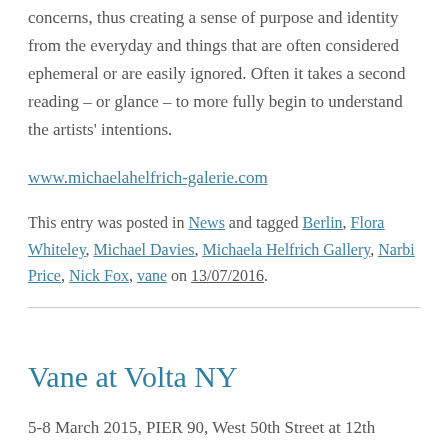concerns, thus creating a sense of purpose and identity from the everyday and things that are often considered ephemeral or are easily ignored. Often it takes a second reading – or glance – to more fully begin to understand the artists' intentions.
www.michaelahelfrich-galerie.com
This entry was posted in News and tagged Berlin, Flora Whiteley, Michael Davies, Michaela Helfrich Gallery, Narbi Price, Nick Fox, vane on 13/07/2016.
Vane at Volta NY
5-8 March 2015, PIER 90, West 50th Street at 12th Avenue, New York, NY 10036, USA